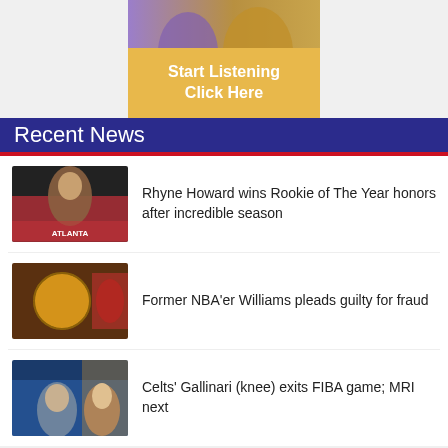[Figure (illustration): Banner advertisement with photo of people at top and yellow 'Start Listening Click Here' call-to-action button below]
Recent News
[Figure (photo): WNBA player Rhyne Howard in Atlanta Dream jersey]
Rhyne Howard wins Rookie of The Year honors after incredible season
[Figure (photo): Basketball close-up with NBA player in background]
Former NBA'er Williams pleads guilty for fraud
[Figure (photo): Basketball player Gallinari in game action]
Celts' Gallinari (knee) exits FIBA game; MRI next